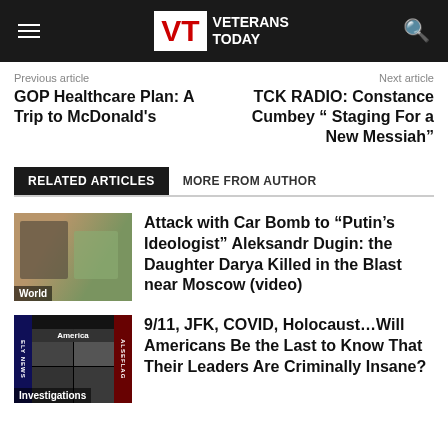Veterans Today
Previous article
Next article
GOP Healthcare Plan: A Trip to McDonald's
TCK RADIO: Constance Cumbey " Staging For a New Messiah"
RELATED ARTICLES   MORE FROM AUTHOR
Attack with Car Bomb to “Putin’s Ideologist” Aleksandr Dugin: the Daughter Darya Killed in the Blast near Moscow (video)
9/11, JFK, COVID, Holocaust…Will Americans Be the Last to Know That Their Leaders Are Criminally Insane?